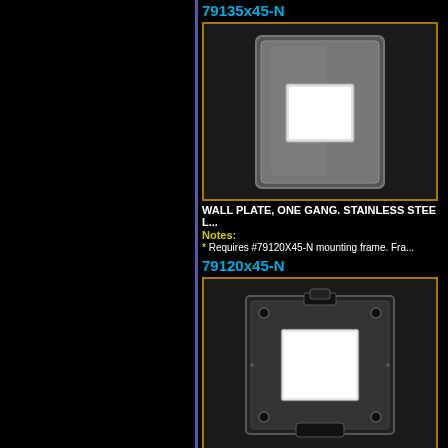79135x45-N
[Figure (photo): Wall plate, one gang, stainless steel product photo showing a rectangular dark metallic plate with a square cutout in the center]
WALL PLATE, ONE GANG. STAINLESS STEE
Notes:
* Requires #79120X45-N mounting frame. Fra
79120x45-N
[Figure (photo): Mounting frame for American 2x4 wall boxes, black plastic frame with screw holes and a square opening]
MOUNTING FRAME FOR AMERICAN 2x4 WAL
Notes:
* Mounts on American 2x4 wall boxes, require
79180x45-N